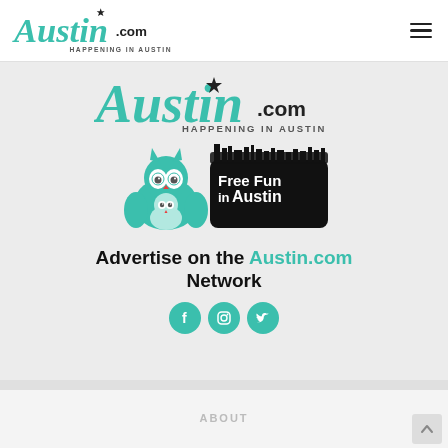[Figure (logo): Austin.com - Happening in Austin logo in teal script font, top navigation bar]
[Figure (logo): Austin.com - Happening in Austin large teal logo on gray background]
[Figure (logo): Free Fun in Austin logo with teal owl mascot and city skyline silhouette]
Advertise on the Austin.com Network
[Figure (infographic): Social media icons: Facebook, Instagram, Twitter (teal circles)]
ABOUT